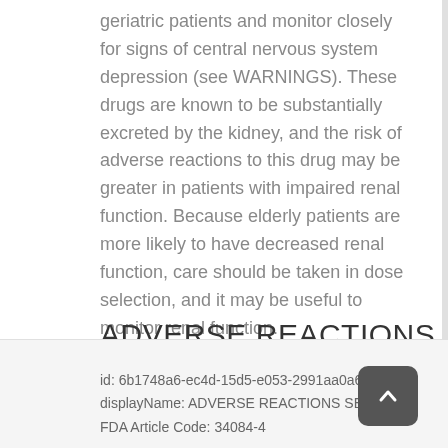geriatric patients and monitor closely for signs of central nervous system depression (see WARNINGS). These drugs are known to be substantially excreted by the kidney, and the risk of adverse reactions to this drug may be greater in patients with impaired renal function. Because elderly patients are more likely to have decreased renal function, care should be taken in dose selection, and it may be useful to monitor renal function.
ADVERSE REACTIONS
id: 6b1748a6-ec4d-15d5-e053-2991aa0a60e5
displayName: ADVERSE REACTIONS SECTION
FDA Article Code: 34084-4